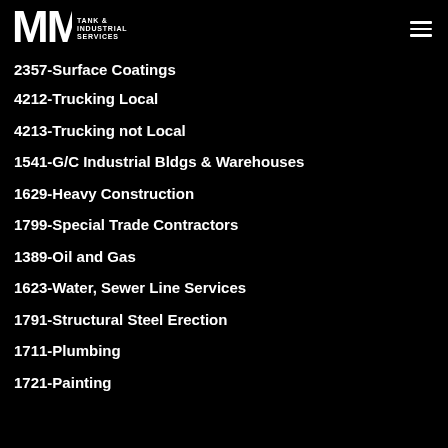MMI TANK & INDUSTRIAL SERVICES
2357-Surface Coatings
4212-Trucking Local
4213-Trucking not Local
1541-G/C Industrial Bldgs &amp; Warehouses
1629-Heavy Construction
1799-Special Trade Contractors
1389-Oil and Gas
1623-Water, Sewer Line Services
1791-Structural Steel Erection
1711-Plumbing
1721-Painting